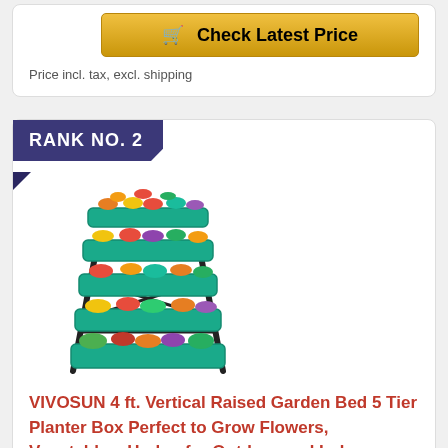Check Latest Price
Price incl. tax, excl. shipping
RANK NO. 2
[Figure (photo): VIVOSUN 4 ft. Vertical Raised Garden Bed with 5 tiers of green planters filled with colorful flowers and vegetables, mounted on a black metal A-frame stand.]
VIVOSUN 4 ft. Vertical Raised Garden Bed 5 Tier Planter Box Perfect to Grow Flowers, Vegetables, Herbs, for Outdoor and Indoor Gardening
Check Latest Price